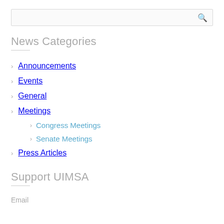News Categories
Announcements
Events
General
Meetings
Congress Meetings
Senate Meetings
Press Articles
Support UIMSA
Email